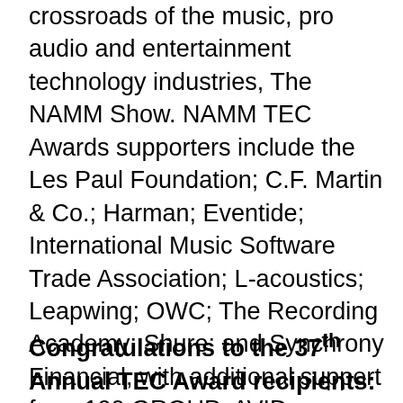The NAMM TEC Awards is held during the global crossroads of the music, pro audio and entertainment technology industries, The NAMM Show. NAMM TEC Awards supporters include the Les Paul Foundation; C.F. Martin & Co.; Harman; Eventide; International Music Software Trade Association; L-acoustics; Leapwing; OWC; The Recording Academy; Shure; and Synchrony Financial, with additional support from 100 GROUP; AVID; Broadjam; The Blackbird Academy; CAS – Cineman Audio Society; Game Audio Network Guild (GANG); ixi Mega; Korg; LATAM STAGE; Millennia: MPSE; Musica y Mercado; sE Electronics International, Inc.; Sonic Scoop; Studioexpresso; TASCAM; Wholegrain Digital; Wonder Wonder Sound; WSDG and many others.
Congratulations to the 37th Annual TEC Award recipients: